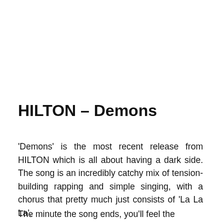HILTON – Demons
'Demons' is the most recent release from HILTON which is all about having a dark side. The song is an incredibly catchy mix of tension-building rapping and simple singing, with a chorus that pretty much just consists of 'La La La'.
The minute the song ends, you'll feel the